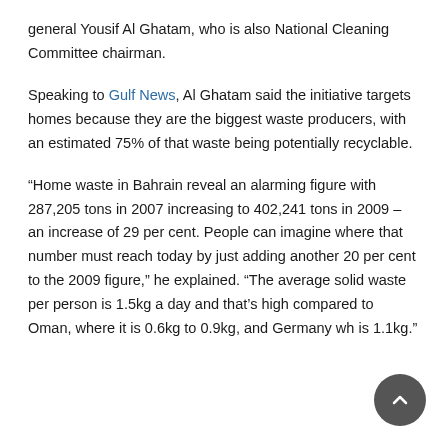general Yousif Al Ghatam, who is also National Cleaning Committee chairman.
Speaking to Gulf News, Al Ghatam said the initiative targets homes because they are the biggest waste producers, with an estimated 75% of that waste being potentially recyclable.
“Home waste in Bahrain reveal an alarming figure with 287,205 tons in 2007 increasing to 402,241 tons in 2009 – an increase of 29 per cent. People can imagine where that number must reach today by just adding another 20 per cent to the 2009 figure,” he explained. “The average solid waste per person is 1.5kg a day and that’s high compared to Oman, where it is 0.6kg to 0.9kg, and Germany wh is 1.1kg.”